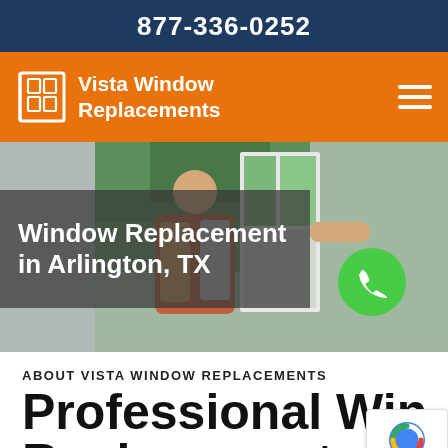877-336-0252
Vista Window Replacements
[Figure (photo): Hero image of a person installing or handling a window, with green trees visible outside. Overlay text reads 'Window Replacement in Arlington, TX' with a green phone call button.]
ABOUT VISTA WINDOW REPLACEMENTS
Professional Window Replacement